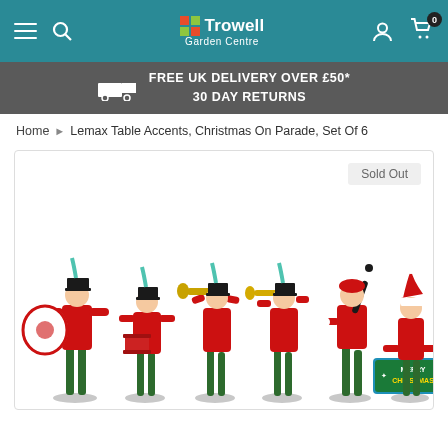Trowell Garden Centre
FREE UK DELIVERY OVER £50* 30 DAY RETURNS
Home ▶ Lemax Table Accents, Christmas On Parade, Set Of 6
[Figure (photo): Six Lemax Christmas parade figurines in red and green uniforms — two drummers, two trumpet players, a majorette, and a child with a Merry Christmas sign — displayed on a white background. A 'Sold Out' badge appears in the top right corner of the product frame.]